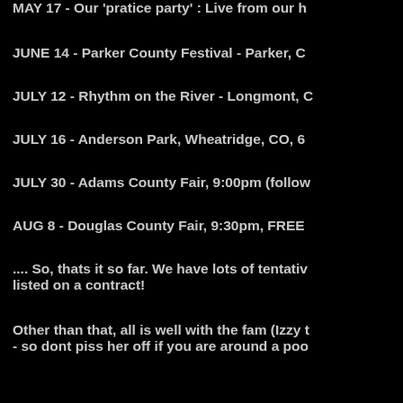MAY 17 - Our 'pratice party': Live from our h
JUNE 14 - Parker County Festival - Parker, C
JULY 12 - Rhythm on the River - Longmont, C
JULY 16 - Anderson Park, Wheatridge, CO, 6
JULY 30 - Adams County Fair, 9:00pm (follow
AUG 8 - Douglas County Fair, 9:30pm, FREE
.... So, thats it so far. We have lots of tentativ listed on a contract!
Other than that, all is well with the fam (Izzy t - so dont piss her off if you are around a poo
I am on a binge diet (down 13 so far - 300 mc
Currently on the I-Pod: Lynch Mob!!! To bad out. Great stuff.
PEACE OUT - whatever that means.....
-S